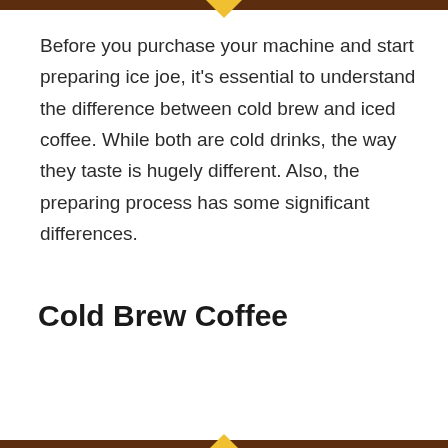Before you purchase your machine and start preparing ice joe, it's essential to understand the difference between cold brew and iced coffee. While both are cold drinks, the way they taste is hugely different. Also, the preparing process has some significant differences.
Cold Brew Coffee